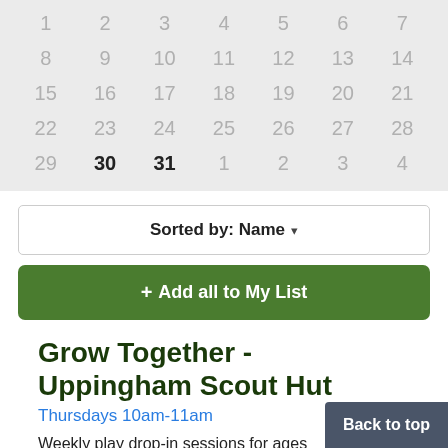[Figure (other): Calendar grid showing dates 1-7, 8-14, 15-21, 22-28, 29-31 and 1-4, with 30 and 31 highlighted in dark]
Sorted by: Name ▾
+ Add all to My List
Grow Together - Uppingham Scout Hut
Thursdays 10am-11am
Weekly play drop-in sessions for ages 0-5 years. ....
2, Wilkes Gardens, Uppingham, Oakham
Back to top